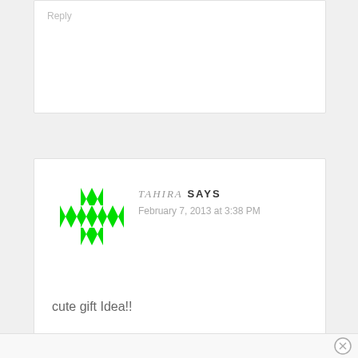Reply
[Figure (illustration): Green geometric cross/snowflake pattern avatar for user Tahira]
TAHIRA SAYS
February 7, 2013 at 3:38 PM
cute gift Idea!!
Reply